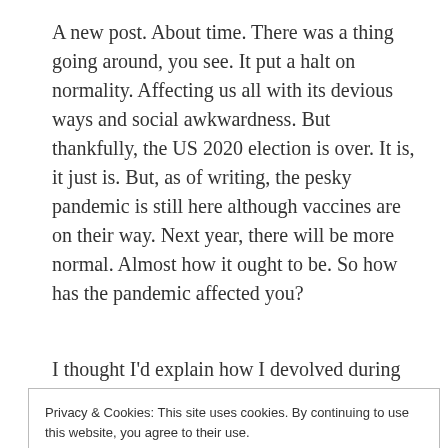A new post. About time. There was a thing going around, you see. It put a halt on normality. Affecting us all with its devious ways and social awkwardness. But thankfully, the US 2020 election is over. It is, it just is. But, as of writing, the pesky pandemic is still here although vaccines are on their way. Next year, there will be more normal. Almost how it ought to be. So how has the pandemic affected you?
I thought I'd explain how I devolved during the
Privacy & Cookies: This site uses cookies. By continuing to use this website, you agree to their use.
To find out more, including how to control cookies, see here: Cookie Policy
Close and accept